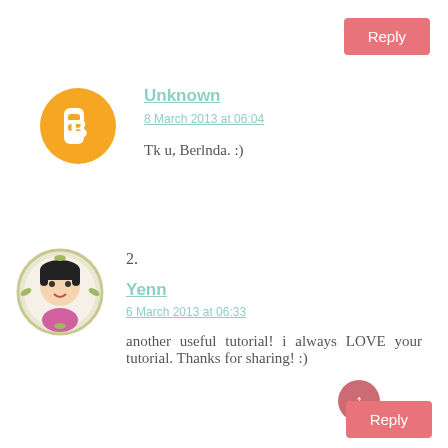Reply
[Figure (illustration): Blogger default avatar: orange circle with white 'B' icon]
Unknown
8 March 2013 at 06:04
Tk u, Berlnda. :)
2.
[Figure (illustration): Cartoon girl avatar with black hair and pink outfit in circular wreath frame]
Yenn
6 March 2013 at 06:33
another useful tutorial! i always LOVE your tutorial. Thanks for sharing! :)
Reply